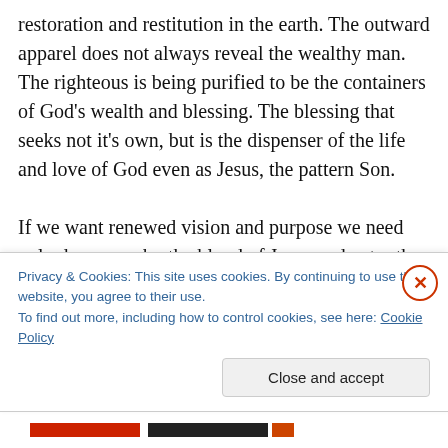restoration and restitution in the earth. The outward apparel does not always reveal the wealthy man. The righteous is being purified to be the containers of God's wealth and blessing. The blessing that seeks not it's own, but is the dispenser of the life and love of God even as Jesus, the pattern Son.
If we want renewed vision and purpose we need only draw near by the blood of Jesus and enter the sanctuary of His presence. When we experience the richness of His manifest presence we will know without a doubt that there is nothing in this earth richer or more satisfying than Christ
Privacy & Cookies: This site uses cookies. By continuing to use this website, you agree to their use.
To find out more, including how to control cookies, see here: Cookie Policy
Close and accept